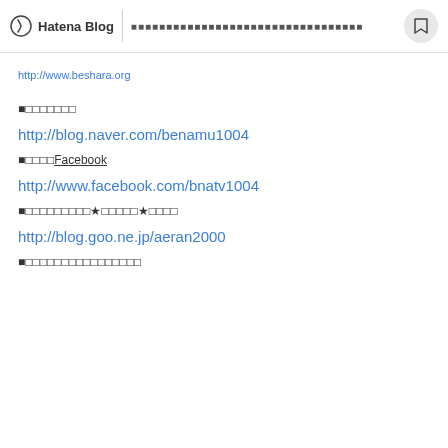Hatena Blog  ■■■■■■■■■■■■■■■■■■■■■■■■■■■■
http://www.beshara.org
■□□□□□□□
http://blog.naver.com/benamu1004
■□□□□Facebook
http://www.facebook.com/bnatv1004
■□□□□□□□□□★□□□□□★□□□□
http://blog.goo.ne.jp/aeran2000
■□□□□□□□□□□□□□□□□